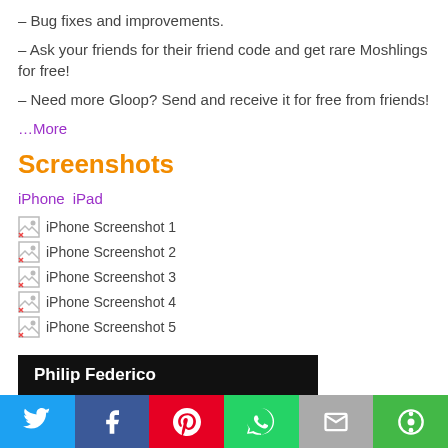– Bug fixes and improvements.
– Ask your friends for their friend code and get rare Moshlings for free!
– Need more Gloop? Send and receive it for free from friends!
…More
Screenshots
iPhone  iPad
[Figure (screenshot): iPhone Screenshot 1]
[Figure (screenshot): iPhone Screenshot 2]
[Figure (screenshot): iPhone Screenshot 3]
[Figure (screenshot): iPhone Screenshot 4]
[Figure (screenshot): iPhone Screenshot 5]
Philip Federico
Twitter | Facebook | Pinterest | WhatsApp | Email | More